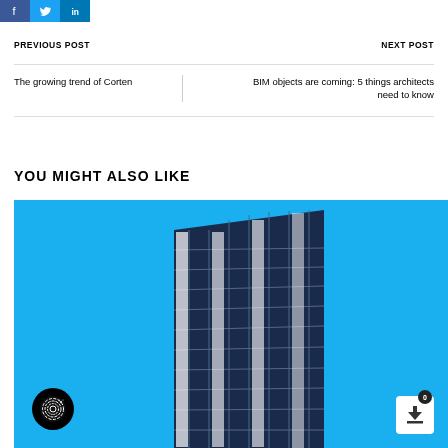[Figure (other): Social share buttons: Facebook (blue), Twitter (light blue), LinkedIn (dark blue)]
PREVIOUS POST
NEXT POST
The growing trend of Corten
BIM objects are coming: 5 things architects need to know
YOU MIGHT ALSO LIKE
[Figure (photo): Aerial view of a tall modern dark blue building against bright blue sky, with fingerprint/logo icon in bottom left and download button with badge showing 0 in bottom right]